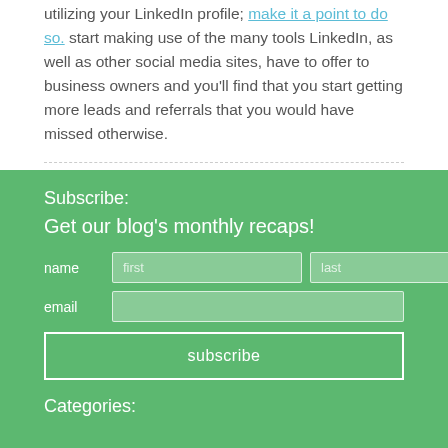utilizing your LinkedIn profile; make it a point to do so. start making use of the many tools LinkedIn, as well as other social media sites, have to offer to business owners and you'll find that you start getting more leads and referrals that you would have missed otherwise.
Subscribe:
Get our blog's monthly recaps!
name  first  last
email
subscribe
Categories: